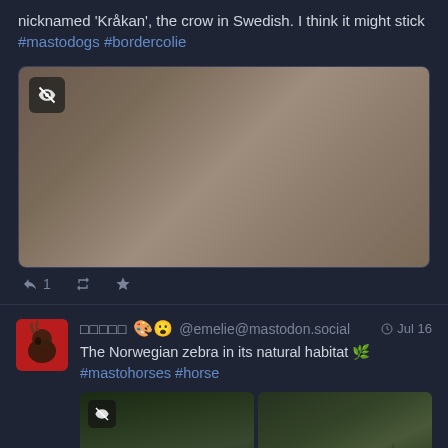nicknamed 'Kråkan', the crow in Swedish. I think it might stick #mastodogs #bordercolie
[Figure (photo): A blurred/obscured brownish-tan rectangular image placeholder with a content warning eye-slash icon in the top left corner]
↩ 1  🔁  ★
[username with emoji] 🎨😮 @emelie@mastodon.social  Jul 16
The Norwegian zebra in its natural habitat 🌿 #mastohorses #horse
[Figure (photo): Two side-by-side thumbnail images showing dense green trees/foliage — a natural outdoor forest scene. Left thumbnail has a content warning eye-slash icon.]